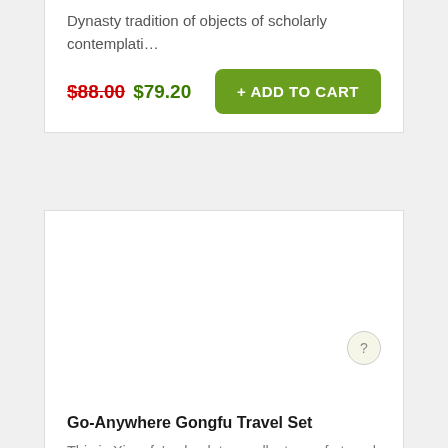Dynasty tradition of objects of scholarly contemplati…
$88.00 $79.20
+ ADD TO CART
[Figure (other): Product image area (blank/white) for Go-Anywhere Gongfu Travel Set]
Go-Anywhere Gongfu Travel Set
This is Xiangfu's absolute smallest gongfu travel kit. This is a bit in la lo o o o i i o o o o b b...